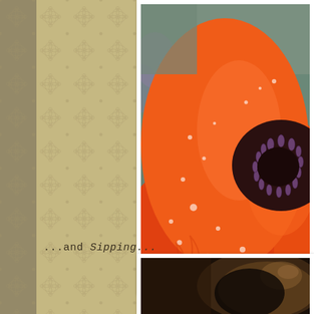[Figure (photo): Close-up macro photograph of an orange poppy flower with water droplets on petals, showing dark purple stamens in center, green blurred background]
...and Sipping...
[Figure (photo): Close-up photograph of a dark coffee cup or mug, bokeh background, warm brown tones]